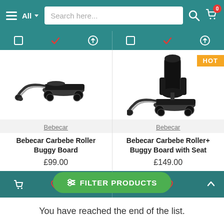Navigation bar with hamburger menu, All dropdown, search field, search icon, and cart icon with badge 0
[Figure (screenshot): Bebecar Carbebe Roller Buggy Board product image - a buggy board accessory with wheels and straps]
Bebecar
Bebecar Carbebe Roller Buggy Board
£99.00
[Figure (screenshot): Bebecar Carbebe Roller+ Buggy Board with Seat product image - a buggy board with seat attachment, marked HOT]
Bebecar
Bebecar Carbebe Roller+ Buggy Board with Seat
£149.00
You have reached the end of the list.